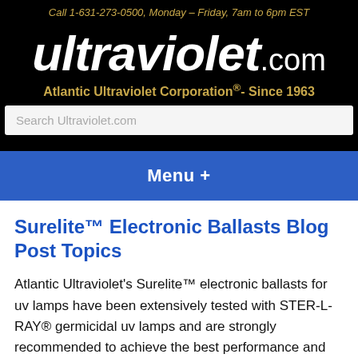Call 1-631-273-0500, Monday – Friday, 7am to 6pm EST
ultraviolet.com
Atlantic Ultraviolet Corporation®- Since 1963
Search Ultraviolet.com
Menu +
Surelite™ Electronic Ballasts Blog Post Topics
Atlantic Ultraviolet's Surelite™ electronic ballasts for uv lamps have been extensively tested with STER-L-RAY® germicidal uv lamps and are strongly recommended to achieve the best performance and longest lamp life. A